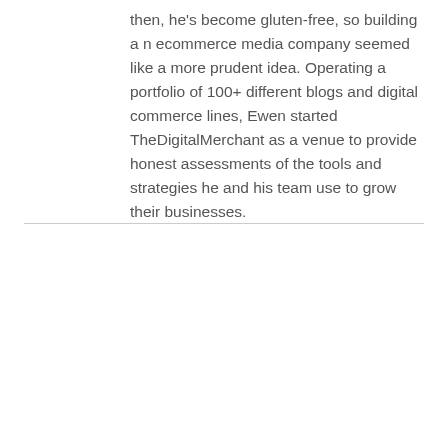then, he's become gluten-free, so building a new ecommerce media company seemed like a more prudent idea. Operating a portfolio of 100+ different blogs and digital commerce lines, Ewen started TheDigitalMerchant as a venue to provide honest assessments of the tools and strategies he and his team use to grow their businesses.
[Figure (other): Orange promotional banner reading 'Get 40% OFF for 3 Months' overlaid on a light gray rounded rectangle box]